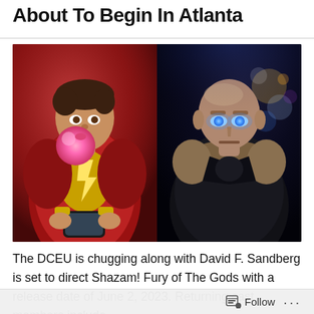About To Begin In Atlanta
[Figure (photo): Two-panel composite image. Left panel: Shazam character in red and gold superhero suit blowing a pink bubble gum, holding a smartphone. Right panel: Bald villain character with glowing blue eyes in a dark leather coat against a night city background.]
The DCEU is chugging along with David F. Sandberg is set to direct Shazam! Fury of The Gods with a release date of June 2, 2023. Returning cast members include